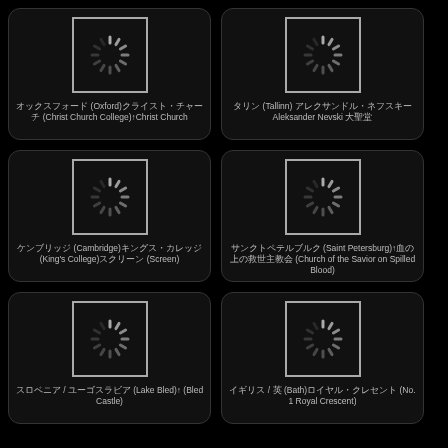[Figure (illustration): Loading spinner icon in white border box]
オックスフォード (Oxford)クライスト・チャーチ (Christ Church College)↑Christ Church
[Figure (illustration): Loading spinner icon in white border box]
タリン (Tallinn) アレクサンドル・ネフスキー Aleksander Nevski 大聖堂
[Figure (illustration): Loading spinner icon in white border box]
ケンブリッジ (Cambridge)キングス・カレッジ (King's College)スクリーン (Screen)
[Figure (illustration): Loading spinner icon in white border box]
サンクトペテルブルク (Saint Petersburg)↑血の上の救世主教会 (Church of the Savior on Spilled Blood)
[Figure (illustration): Loading spinner icon in white border box]
スロベニア / ユーゴスラビア (Lake Bled)↑ (Bled Castle)
[Figure (illustration): Loading spinner icon in white border box]
イギリス / 英 (Bath)ロイヤル・クレセント (No. 1 Royal Crescent)